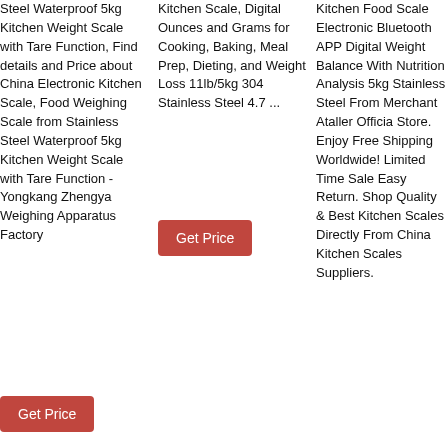Steel Waterproof 5kg Kitchen Weight Scale with Tare Function, Find details and Price about China Electronic Kitchen Scale, Food Weighing Scale from Stainless Steel Waterproof 5kg Kitchen Weight Scale with Tare Function - Yongkang Zhengya Weighing Apparatus Factory
Kitchen Scale, Digital Ounces and Grams for Cooking, Baking, Meal Prep, Dieting, and Weight Loss 11lb/5kg 304 Stainless Steel 4.7 ...
Kitchen Food Scale Electronic Bluetooth APP Digital Weight Balance With Nutrition Analysis 5kg Stainless Steel From Merchant Ataller Officia Store. Enjoy Free Shipping Worldwide! Limited Time Sale Easy Return. Shop Quality & Best Kitchen Scales Directly From China Kitchen Scales Suppliers.
Get Price
Get Price